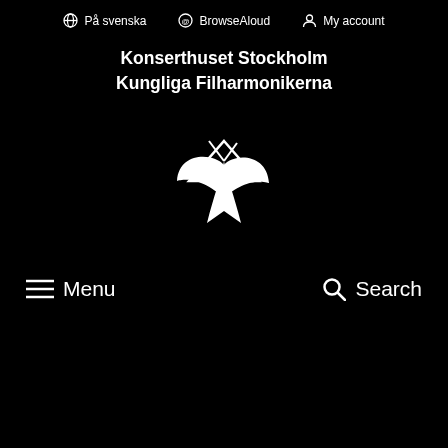På svenska   BrowseAloud   My account
Konserthuset Stockholm
Kungliga Filharmonikerna
[Figure (logo): White stylized butterfly/arrow logo for Konserthuset Stockholm / Kungliga Filharmonikerna on black background]
Menu   Search